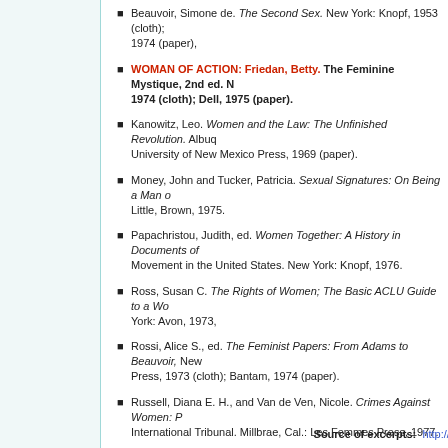Beauvoir, Simone de. The Second Sex. New York: Knopf, 1953 (cloth); 1974 (paper),
WOMAN OF ACTION: Friedan, Betty. The Feminine Mystique, 2nd ed. N... 1974 (cloth); Dell, 1975 (paper).
Kanowitz, Leo. Women and the Law: The Unfinished Revolution. Albuq... University of New Mexico Press, 1969 (paper).
Money, John and Tucker, Patricia. Sexual Signatures: On Being a Man o... Little, Brown, 1975.
Papachristou, Judith, ed. Women Together: A History in Documents of... Movement in the United States. New York: Knopf, 1976.
Ross, Susan C. The Rights of Women; The Basic ACLU Guide to a Wo... York: Avon, 1973,
Rossi, Alice S., ed. The Feminist Papers: From Adams to Beauvoir, New... Press, 1973 (cloth); Bantam, 1974 (paper).
Russell, Diana E. H., and Van de Ven, Nicole. Crimes Against Women: P... International Tribunal. Millbrae, Cal.: Les Femmes Press, 1977.
Source of excerpts: http://www2.hu-berlin.de